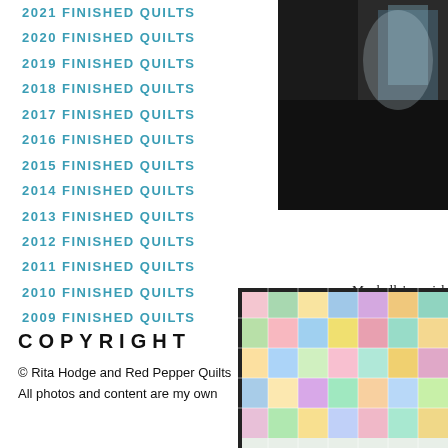2021 FINISHED QUILTS
2020 FINISHED QUILTS
2019 FINISHED QUILTS
2018 FINISHED QUILTS
2017 FINISHED QUILTS
2016 FINISHED QUILTS
2015 FINISHED QUILTS
2014 FINISHED QUILTS
2013 FINISHED QUILTS
2012 FINISHED QUILTS
2011 FINISHED QUILTS
2010 FINISHED QUILTS
2009 FINISHED QUILTS
[Figure (photo): Dark photo of a quilt partially visible, upper right area of page]
Maybelle's wish is to go to The Ellen… her for being awesome. The proble… oldest of 4 children. The Make-A… wishes due to lack of funding, and… together and make Maybelle's wish c…
As part of the fundraising effort a… Monday, November 5 to Friday Nov… is the quilt that I have been working…
COPYRIGHT
© Rita Hodge and Red Pepper Quilts
All photos and content are my own
[Figure (photo): Colorful patchwork quilt photo, bottom right of page]